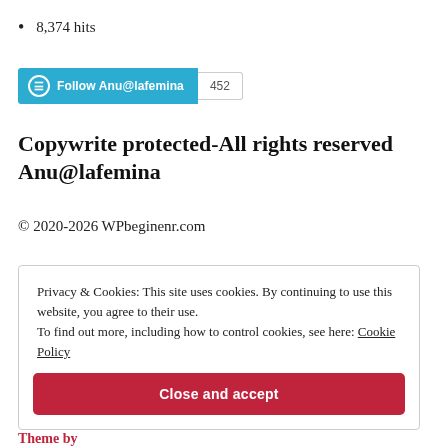8,374 hits
[Figure (other): WordPress Follow button for Anu@lafemina with follower count badge showing 452]
Copywrite protected-All rights reserved Anu@lafemina
© 2020-2026 WPbeginenr.com
Privacy & Cookies: This site uses cookies. By continuing to use this website, you agree to their use. To find out more, including how to control cookies, see here: Cookie Policy
Close and accept
Theme by